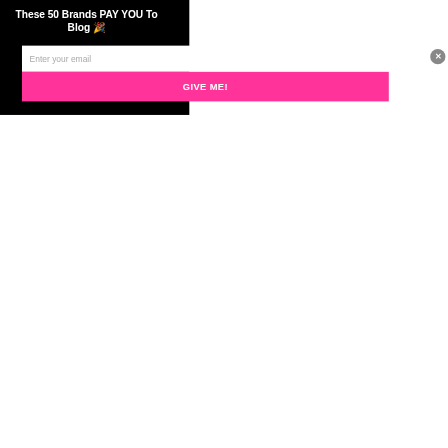These 50 Brands PAY YOU To Blog 🎉
[Figure (screenshot): Email capture form with text input field labeled 'Enter your email' and a pink button labeled 'GIVE ME!' on a black background. A grey circular close button with an X is visible in the top right.]
Enter your email
GIVE ME!